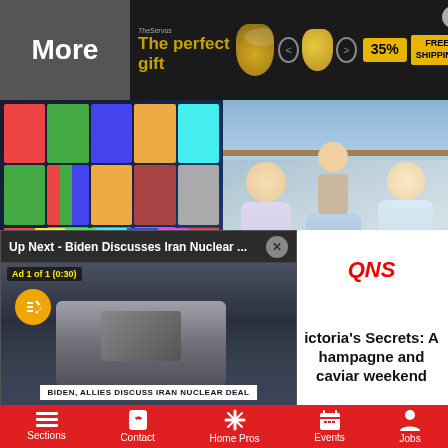[Figure (screenshot): Ad banner for a gift shop: 'The perfect gift' in gold text, with product images and '35% FREE SHIPPING' badge]
More
[Figure (photo): TV broadcast control room with multiple screens showing various channels]
[Figure (photo): Three women in blue floral dresses on a yacht]
[Figure (screenshot): Video player overlay: 'Up Next - Biden Discusses Iran Nuclear ...' with Ad 1 of 1 (0:30) label, mute button, and lower-third text 'BIDEN, ALLIES DISCUSS IRAN NUCLEAR DEAL']
QNS
ictoria’s Secrets: A hampagne and caviar weekend
Sections  Contact  Home Pros  Events  Jobs